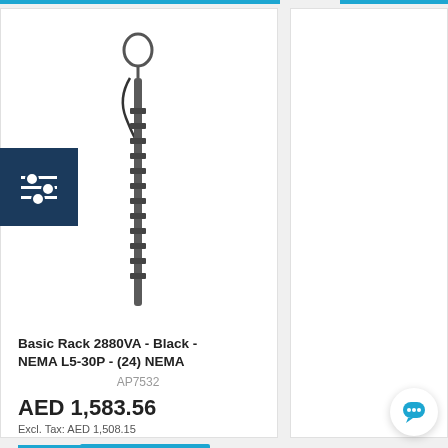[Figure (photo): Tall vertical rack PDU power strip with cable, dark gray/black color]
Basic Rack 2880VA - Black - NEMA L5-30P - (24) NEMA
AP7532
AED 1,583.56
Excl. Tax: AED 1,508.15
ADD TO QUOTE